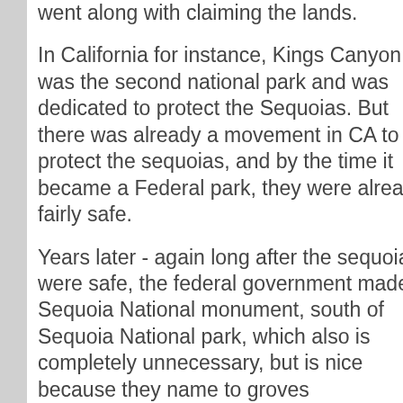went along with claiming the lands.
In California for instance, Kings Canyon was the second national park and was dedicated to protect the Sequoias. But there was already a movement in CA to protect the sequoias, and by the time it became a Federal park, they were already fairly safe.
Years later - again long after the sequoias were safe, the federal government made a Sequoia National monument, south of Sequoia National park, which also is completely unnecessary, but is nice because they name to groves...